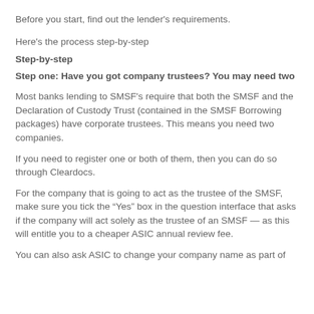Before you start, find out the lender's requirements.
Here's the process step-by-step
Step-by-step
Step one: Have you got company trustees? You may need two
Most banks lending to SMSF's require that both the SMSF and the Declaration of Custody Trust (contained in the SMSF Borrowing packages) have corporate trustees. This means you need two companies.
If you need to register one or both of them, then you can do so through Cleardocs.
For the company that is going to act as the trustee of the SMSF, make sure you tick the “Yes” box in the question interface that asks if the company will act solely as the trustee of an SMSF — as this will entitle you to a cheaper ASIC annual review fee.
You can also ask ASIC to change your company name as part of...